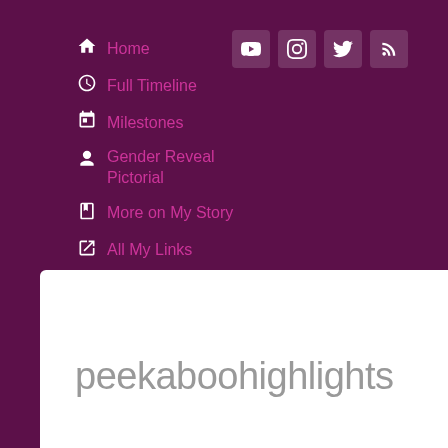Home
Full Timeline
Milestones
Gender Reveal Pictorial
More on My Story
All My Links
Contact
About
peekaboohighlights